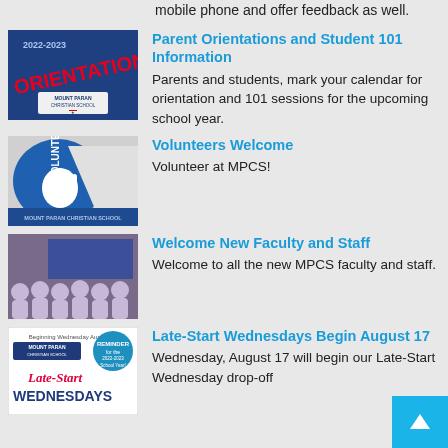mobile phone and offer feedback as well.
[Figure (illustration): 2022-2023 Orientations graphic with Mount Paran Christian School logo on dark blue background]
Parent Orientations and Student 101 Information
Parents and students, mark your calendar for orientation and 101 sessions for the upcoming school year.
[Figure (illustration): Volunteer graphic with hand silhouette and Mount Paran branding on blue background]
Volunteers Welcome
Volunteer at MPCS!
[Figure (photo): Group photo of new MPCS faculty and staff]
Welcome New Faculty and Staff
Welcome to all the new MPCS faculty and staff.
[Figure (illustration): Late-Start Wednesdays flyer for Mount Paran Christian School beginning August 17]
Late-Start Wednesdays Begin August 17
Wednesday, August 17 will begin our Late-Start Wednesday drop-off